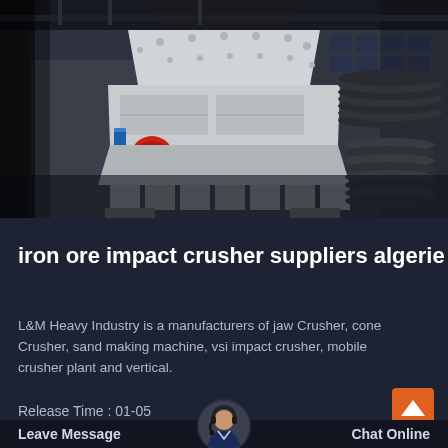[Figure (photo): Large white industrial impact crusher machine in a factory/warehouse setting, viewed from below-front angle. Machine has a trapezoidal/pyramid shape with bolted panels, a red circular element on the side, and crushing chamber openings at the bottom. Background shows industrial building interior with steel structures and stacked circular metal parts.]
iron ore impact crusher suppliers algerie
L&M Heavy Industry is a manufacturers of jaw Crusher, cone Crusher, sand making machine, vsi impact crusher, mobile crusher plant and vertical.
Release Time : 01-05
Leave Message
Chat Online